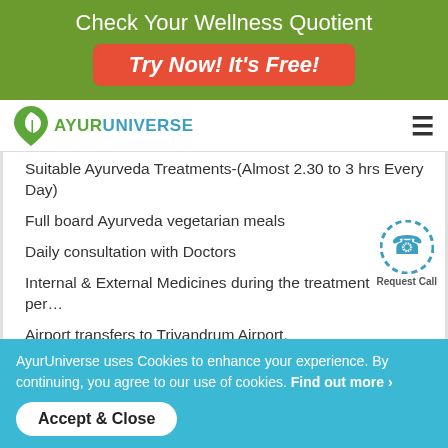[Figure (infographic): Green promotional banner with text 'Check Your Wellness Quotient' and a red button 'Try Now! It's Free!']
AYURUNIVERSE
Suitable Ayurveda Treatments-(Almost 2.30 to 3 hrs Every Day)
Full board Ayurveda vegetarian meals
Daily consultation with Doctors
Internal & External Medicines during the treatment per…
Airport transfers to Trivandrum Airport.
Complimentary yoga classes
Wi-fi & Swimming Pool access
All applicable taxes
AyurUniverse uses Cookies to enhance your experience. By continuing, you agree to our use of cookies. Find out more ›
Accept & Close